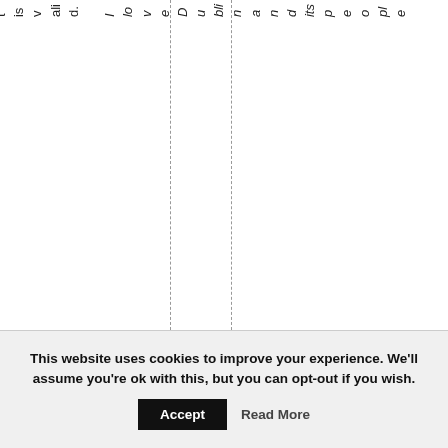t is valid. I love Dublin and its people
This website uses cookies to improve your experience. We'll assume you're ok with this, but you can opt-out if you wish. Accept Read More